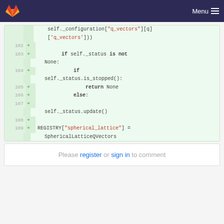Menu
[Figure (screenshot): GitLab code diff showing Python lines 102-109 with additions marked with + signs. Lines include self._configuration["q_vectors"][q]['q_vectors']), if self._status is not None:, if self._status.is_stopped():, return None, else:, self._status.update(), empty line, and REGISTRY["spherical_lattice"] = SphericalLatticeQVectors]
Please register or sign in to comment